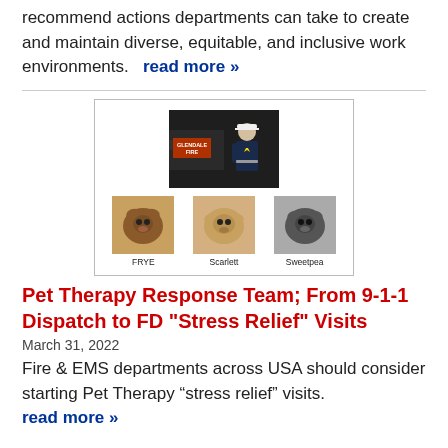recommend actions departments can take to create and maintain diverse, equitable, and inclusive work environments.   read more »
[Figure (photo): Composite image showing a firefighter in uniform in front of a Glendale Fire truck (top center), and three therapy dogs below labeled FRYE, Scarlett, and Sweetpea.]
Pet Therapy Response Team; From 9-1-1 Dispatch to FD "Stress Relief" Visits
March 31, 2022
Fire & EMS departments across USA should consider starting Pet Therapy “stress relief” visits.   read more »